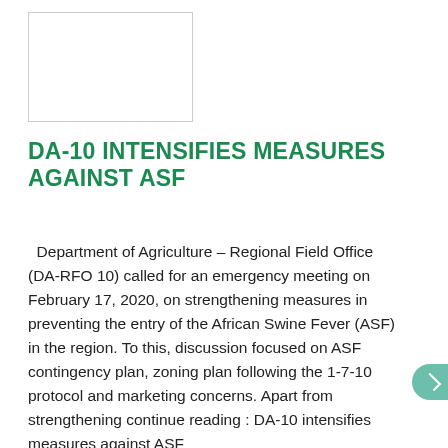[Figure (photo): Placeholder image box with border, white background]
DA-10 INTENSIFIES MEASURES AGAINST ASF
Department of Agriculture – Regional Field Office (DA-RFO 10) called for an emergency meeting on February 17, 2020, on strengthening measures in preventing the entry of the African Swine Fever (ASF) in the region. To this, discussion focused on ASF contingency plan, zoning plan following the 1-7-10 protocol and marketing concerns. Apart from strengthening continue reading : DA-10 intensifies measures against ASF